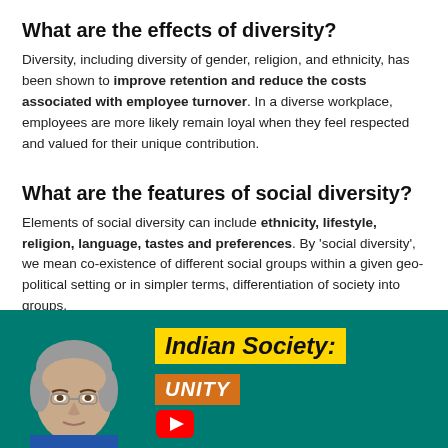What are the effects of diversity?
Diversity, including diversity of gender, religion, and ethnicity, has been shown to improve retention and reduce the costs associated with employee turnover. In a diverse workplace, employees are more likely remain loyal when they feel respected and valued for their unique contribution.
What are the features of social diversity?
Elements of social diversity can include ethnicity, lifestyle, religion, language, tastes and preferences. By ‘social diversity’, we mean co-existence of different social groups within a given geo- political setting or in simpler terms, differentiation of society into groups.
[Figure (illustration): Banner image with teal background showing a man's face on the left and text 'Indian Society:' in a yellow box and 'UNITY' in an orange box on the right, with a YouTube play button icon.]